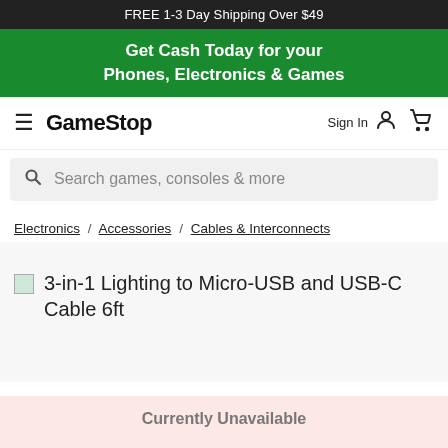FREE 1-3 Day Shipping Over $49
Get Cash Today for your Phones, Electronics & Games
GameStop
Search games, consoles & more
Electronics / Accessories / Cables & Interconnects
3-in-1 Lighting to Micro-USB and USB-C Cable 6ft
Currently Unavailable